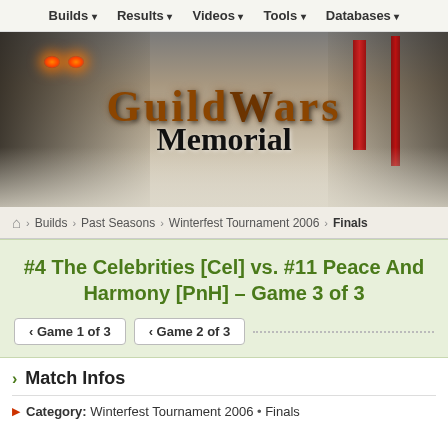Builds | Results | Videos | Tools | Databases
[Figure (illustration): Guild Wars Memorial website hero banner with dark creature with glowing orange eyes on left, red pillars on right, misty fantasy background]
Guild Wars Memorial
Home > Builds > Past Seasons > Winterfest Tournament 2006 > Finals
#4 The Celebrities [Cel] vs. #11 Peace And Harmony [PnH] – Game 3 of 3
Game 1 of 3
Game 2 of 3
Match Infos
Category: Winterfest Tournament 2006 • Finals